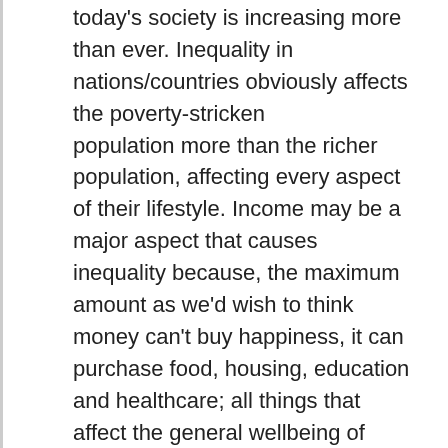today's society is increasing more than ever. Inequality in nations/countries obviously affects the poverty-stricken population more than the richer population, affecting every aspect of their lifestyle. Income may be a major aspect that causes inequality because, the maximum amount as we'd wish to think money can't buy happiness, it can purchase food, housing, education and healthcare; all things that affect the general wellbeing of people. (Is that everything that brings happiness?)
Moving on, with growing industrialization and globalization, this gap is increasing at a fast pace and has become quite substantial. There are many reasons for this economic equality are…
increasing inequality in wages,
gender discrimination,